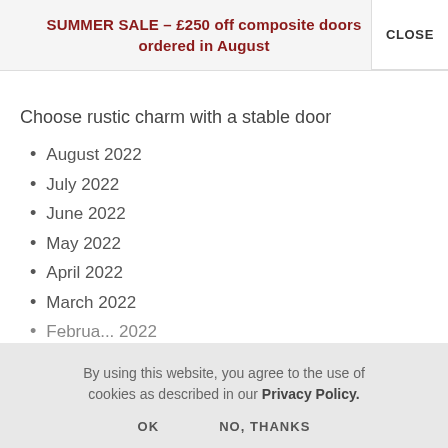SUMMER SALE – £250 off composite doors ordered in August
Choose rustic charm with a stable door
August 2022
July 2022
June 2022
May 2022
April 2022
March 2022
February 2022 (truncated)
By using this website, you agree to the use of cookies as described in our Privacy Policy.
OK   NO, THANKS